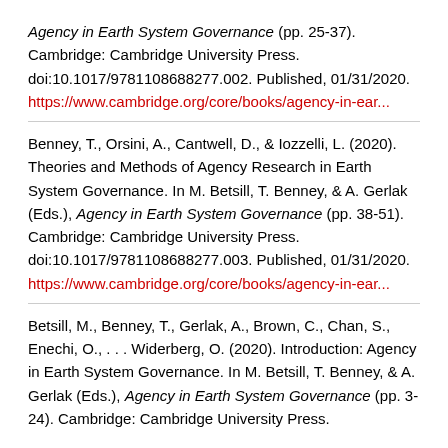Agency in Earth System Governance (pp. 25-37). Cambridge: Cambridge University Press. doi:10.1017/9781108688277.002. Published, 01/31/2020. https://www.cambridge.org/core/books/agency-in-ear...
Benney, T., Orsini, A., Cantwell, D., & Iozzelli, L. (2020). Theories and Methods of Agency Research in Earth System Governance. In M. Betsill, T. Benney, & A. Gerlak (Eds.), Agency in Earth System Governance (pp. 38-51). Cambridge: Cambridge University Press. doi:10.1017/9781108688277.003. Published, 01/31/2020. https://www.cambridge.org/core/books/agency-in-ear...
Betsill, M., Benney, T., Gerlak, A., Brown, C., Chan, S., Enechi, O., . . . Widerberg, O. (2020). Introduction: Agency in Earth System Governance. In M. Betsill, T. Benney, & A. Gerlak (Eds.), Agency in Earth System Governance (pp. 3-24). Cambridge: Cambridge University Press.